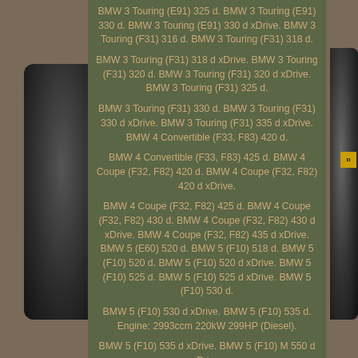BMW 3 Touring (E91) 325 d. BMW 3 Touring (E91) 330 d. BMW 3 Touring (E91) 330 d xDrive. BMW 3 Touring (F31) 316 d. BMW 3 Touring (F31) 318 d.
BMW 3 Touring (F31) 318 d xDrive. BMW 3 Touring (F31) 320 d. BMW 3 Touring (F31) 320 d xDrive. BMW 3 Touring (F31) 325 d.
BMW 3 Touring (F31) 330 d. BMW 3 Touring (F31) 330 d xDrive. BMW 3 Touring (F31) 335 d xDrive. BMW 4 Convertible (F33, F83) 420 d.
BMW 4 Convertible (F33, F83) 425 d. BMW 4 Coupe (F32, F82) 420 d. BMW 4 Coupe (F32, F82) 420 d xDrive.
BMW 4 Coupe (F32, F82) 425 d. BMW 4 Coupe (F32, F82) 430 d. BMW 4 Coupe (F32, F82) 430 d xDrive. BMW 4 Coupe (F32, F82) 435 d xDrive. BMW 5 (E60) 520 d. BMW 5 (F10) 518 d. BMW 5 (F10) 520 d. BMW 5 (F10) 520 d xDrive. BMW 5 (F10) 525 d. BMW 5 (F10) 525 d xDrive. BMW 5 (F10) 530 d.
BMW 5 (F10) 530 d xDrive. BMW 5 (F10) 535 d. Engine: 2993ccm 220kW 299HP (Diesel).
BMW 5 (F10) 535 d xDrive. BMW 5 (F10) M 550 d xDrive.